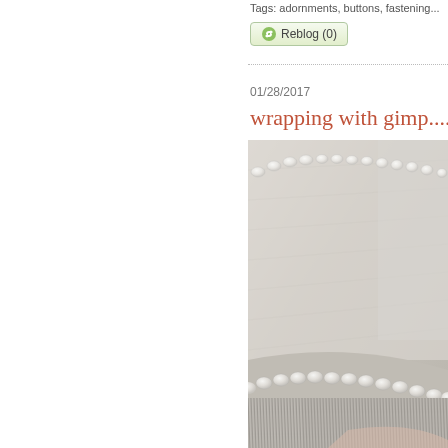Tags: adornments, buttons, fastening...
Reblog (0)
01/28/2017
wrapping with gimp....th
[Figure (photo): Close-up photograph of gimp trim/braid wrap on a curved surface, showing pearlescent beaded edging at top and ribbed metallic gimp coiling at bottom, in white/cream tones]